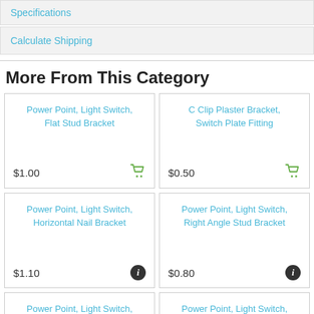Specifications
Calculate Shipping
More From This Category
Power Point, Light Switch, Flat Stud Bracket
$1.00
C Clip Plaster Bracket, Switch Plate Fitting
$0.50
Power Point, Light Switch, Horizontal Nail Bracket
$1.10
Power Point, Light Switch, Right Angle Stud Bracket
$0.80
Power Point, Light Switch, Vertical Nail Bracket
Power Point, Light Switch, Versatile Stud Bracket